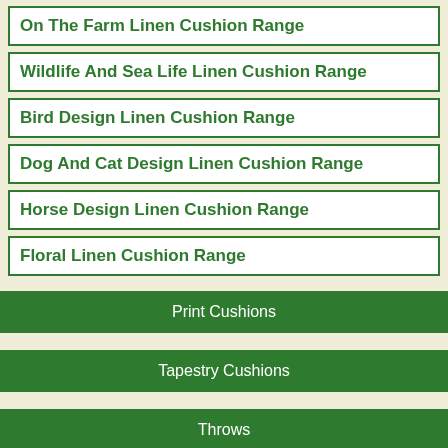On The Farm Linen Cushion Range
Wildlife And Sea Life Linen Cushion Range
Bird Design Linen Cushion Range
Dog And Cat Design Linen Cushion Range
Horse Design Linen Cushion Range
Floral Linen Cushion Range
Print Cushions
Tapestry Cushions
Throws
Tapestry Wall Hangings
Draught Excluders